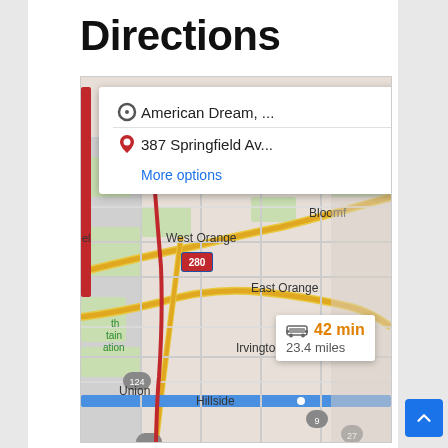Directions
[Figure (map): Google Maps screenshot showing directions from American Dream to 387 Springfield Av, with route through West Orange, Montclair, Bloomfield, East Orange, Irvington, Union, Hillside areas. Route info shows 42 min, 23.4 miles.]